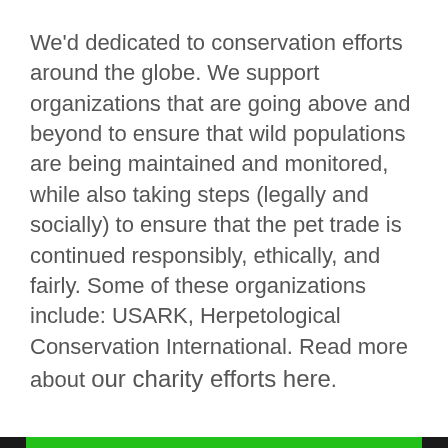We'd dedicated to conservation efforts around the globe. We support organizations that are going above and beyond to ensure that wild populations are being maintained and monitored, while also taking steps (legally and socially) to ensure that the pet trade is continued responsibly, ethically, and fairly. Some of these organizations include: USARK, Herpetological Conservation International. Read more about our charity efforts here.
CONTACT INFO
(415) 952-6490
support@reptileslounge.com
HQ in FL